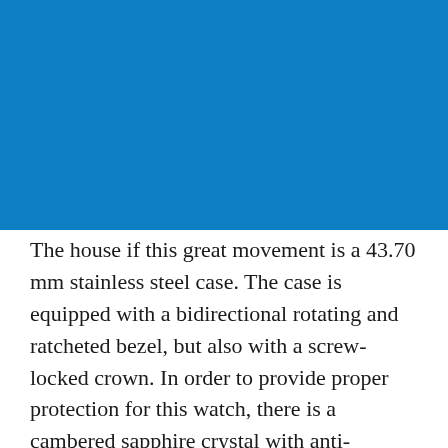[Figure (photo): Blue rectangular image area, likely a photo of a watch or product, rendered as a solid blue background.]
The house if this great movement is a 43.70 mm stainless steel case. The case is equipped with a bidirectional rotating and ratcheted bezel, but also with a screw-locked crown. In order to provide proper protection for this watch, there is a cambered sapphire crystal with anti-reflective treatment on both sides. Made of polished steel, the case back is